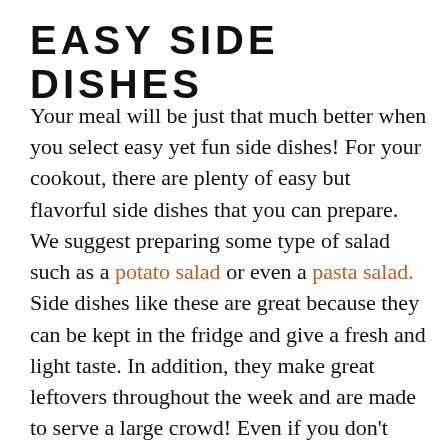EASY SIDE DISHES
Your meal will be just that much better when you select easy yet fun side dishes! For your cookout, there are plenty of easy but flavorful side dishes that you can prepare. We suggest preparing some type of salad such as a potato salad or even a pasta salad. Side dishes like these are great because they can be kept in the fridge and give a fresh and light taste. In addition, they make great leftovers throughout the week and are made to serve a large crowd! Even if you don't have much time, you can still prepare a nice meal by grilling some vegetables and baking a loaf of